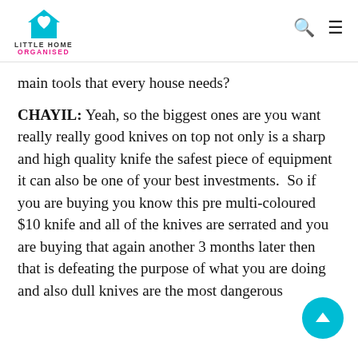LITTLE HOME ORGANISED
main tools that every house needs?
CHAYIL: Yeah, so the biggest ones are you want really really good knives on top not only is a sharp and high quality knife the safest piece of equipment it can also be one of your best investments.  So if you are buying you know this pre multi-coloured $10 knife and all of the knives are serrated and you are buying that again another 3 months later then that is defeating the purpose of what you are doing and also dull knives are the most dangerous